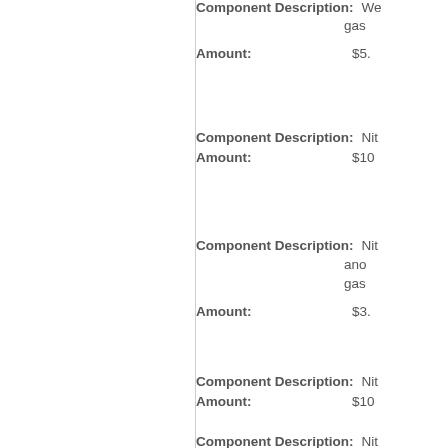Component Description: We... gas...
Amount: $5....
Component Description: Nit...
Amount: $10...
Component Description: Nit... and... gas...
Amount: $3....
Component Description: Nit...
Amount: $10...
Component Description: Nit... and...